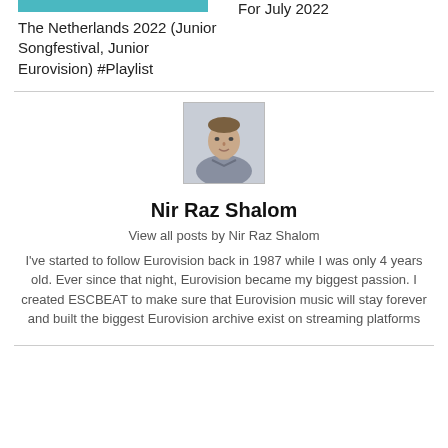[Figure (photo): Thumbnail image bar in teal/cyan color]
The Netherlands 2022 (Junior Songfestival, Junior Eurovision) #Playlist
For July 2022
[Figure (photo): Headshot photo of Nir Raz Shalom, a man facing the camera]
Nir Raz Shalom
View all posts by Nir Raz Shalom
I've started to follow Eurovision back in 1987 while I was only 4 years old. Ever since that night, Eurovision became my biggest passion. I created ESCBEAT to make sure that Eurovision music will stay forever and built the biggest Eurovision archive exist on streaming platforms